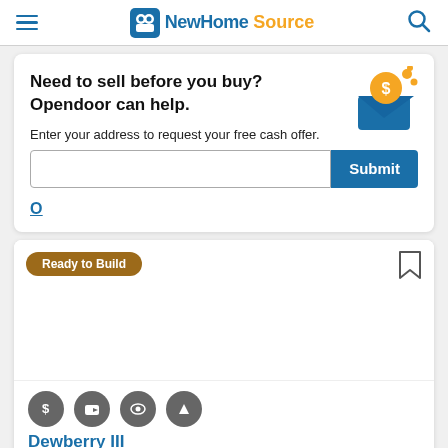NewHomeSource
Need to sell before you buy? Opendoor can help.
Enter your address to request your free cash offer.
[Figure (illustration): Opendoor envelope illustration with dollar sign and coins]
O
[Figure (other): Ready to Build property card with badge, bookmark, image area, and action icons]
Dewberry III